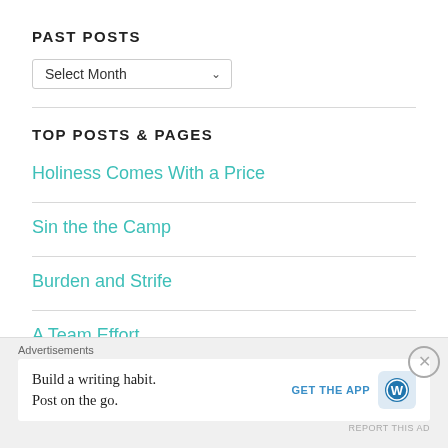PAST POSTS
[Figure (screenshot): A dropdown selector labeled 'Select Month' with a chevron arrow]
TOP POSTS & PAGES
Holiness Comes With a Price
Sin the the Camp
Burden and Strife
A Team Effort
Advertisements
Build a writing habit. Post on the go.
GET THE APP